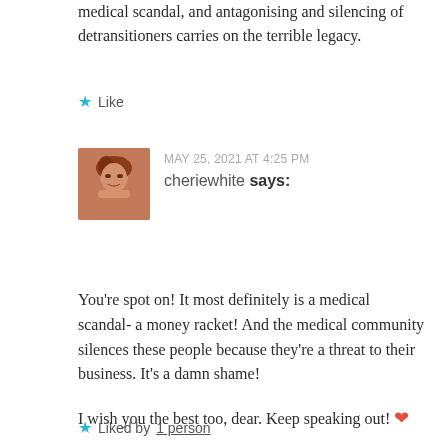medical scandal, and antagonising and silencing of detransitioners carries on the terrible legacy.
★ Like
MAY 25, 2021 AT 4:25 PM
cheriewhite says:
[Figure (photo): Avatar photo of cheriewhite, a woman with reddish-brown hair]
You're spot on! It most definitely is a medical scandal- a money racket! And the medical community silences these people because they're a threat to their business. It's a damn shame!

I wish you the best too, dear. Keep speaking out! ❤
★ Liked by 1 person